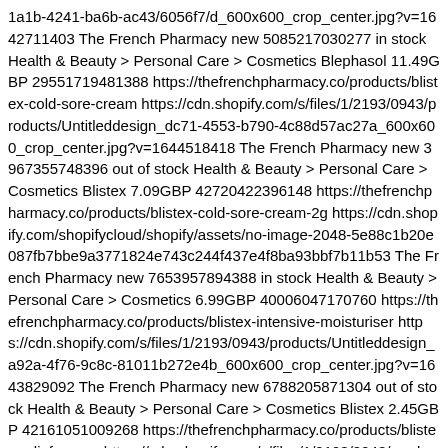1a1b-4241-ba6b-ac43/6056f7/d_600x600_crop_center.jpg?v=1642711403 The French Pharmacy new 5085217030277 in stock Health & Beauty > Personal Care > Cosmetics Blephasol 11.49GBP 29551719481388 https://thefrenchpharmacy.co/products/blistex-cold-sore-cream https://cdn.shopify.com/s/files/1/2193/0943/products/Untitleddesign_dc71-4553-b790-4c88d57ac27a_600x600_crop_center.jpg?v=1644518418 The French Pharmacy new 3967355748396 out of stock Health & Beauty > Personal Care > Cosmetics Blistex 7.09GBP 42720422396148 https://thefrenchpharmacy.co/products/blistex-cold-sore-cream-2g https://cdn.shopify.com/shopifycloud/shopify/assets/no-image-2048-5e88c1b20e087fb7bbe9a3771824e743c244f437e4f8ba93bbf7b11b53 The French Pharmacy new 7653957894388 in stock Health & Beauty > Personal Care > Cosmetics 6.99GBP 40006047170760 https://thefrenchpharmacy.co/products/blistex-intensive-moisturiser https://cdn.shopify.com/s/files/1/2193/0943/products/Untitleddesign_a92a-4f76-9c8c-81011b272e4b_600x600_crop_center.jpg?v=1643829092 The French Pharmacy new 6788205871304 out of stock Health & Beauty > Personal Care > Cosmetics Blistex 2.45GBP 42161051009268 https://thefrenchpharmacy.co/products/blistex-relief-cream https://cdn.shopify.com/s/files/1/2193/0943/products/Untitleddesign_